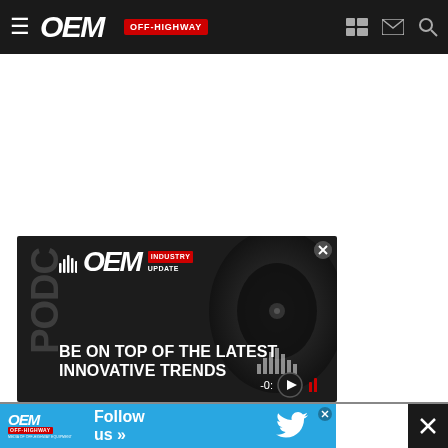OEM OFF-HIGHWAY
[Figure (screenshot): White empty content area below navigation bar]
[Figure (infographic): OEM Industry Update podcast advertisement banner on dark background with text 'BE ON TOP OF THE LATEST INNOVATIVE TRENDS']
[Figure (infographic): OEM Off-Highway Twitter Follow us banner advertisement on cyan/blue background with Twitter bird logo]